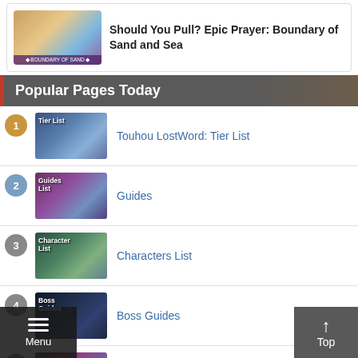Should You Pull? Epic Prayer: Boundary of Sand and Sea
Popular Pages Today
1 Touhou LostWord: Tier List
2 Guides
3 Characters List
4 Boss Guides
5 Story Cards List